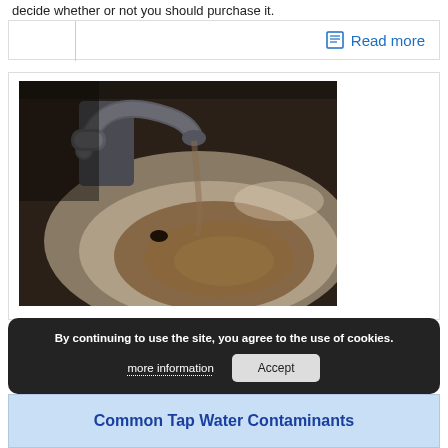decide whether or not you should purchase it.
Read more
[Figure (photo): A bathroom sink with a chrome faucet filling with brown/discolored muddy water, viewed from above.]
By continuing to use the site, you agree to the use of cookies.
more information
Accept
Common Tap Water Contaminants